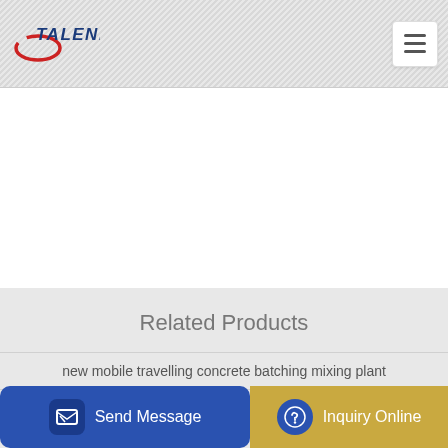TALENET
Related Products
new mobile travelling concrete batching mixing plant
stationary concrete pump used
...Portug...
Send Message
Inquiry Online